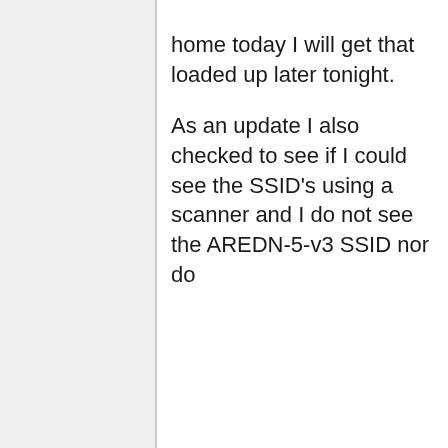home today I will get that loaded up later tonight.

As an update I also checked to see if I could see the SSID's using a scanner and I do not see the AREDN-5-v3 SSID nor do